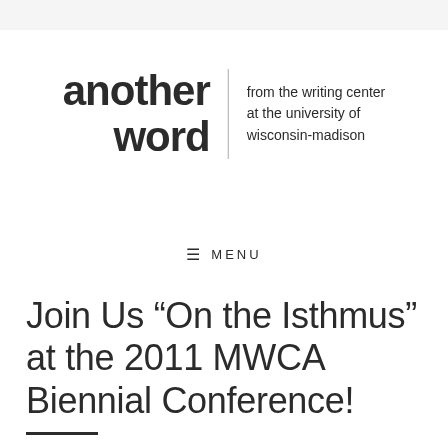[Figure (logo): Another Word logo — large bold text 'another word' on left, vertical divider, smaller text 'from the writing center at the university of wisconsin-madison' on right]
≡ MENU
Join Us “On the Isthmus” at the 2011 MWCA Biennial Conference!